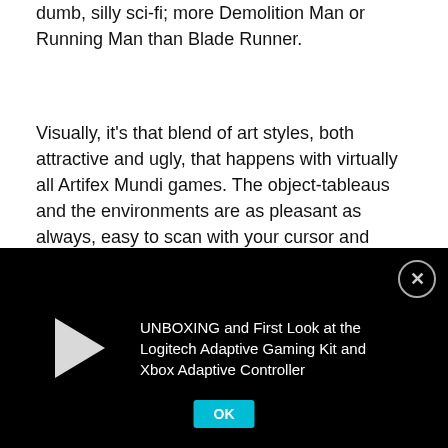dumb, silly sci-fi; more Demolition Man or Running Man than Blade Runner.
Visually, it's that blend of art styles, both attractive and ugly, that happens with virtually all Artifex Mundi games. The object-tableaus and the environments are as pleasant as always, easy to scan with your cursor and clear what you're doing. But then characters enter the frame and they're gonky mannequins, most often animated using a 'smudge' tool on Photoshop rather than posing them or articulating them. They bulge and throb as they move and talk, and you wonder why Artifex never bother to work out a better approach. Everyone
[Figure (screenshot): Video overlay with black background, white play triangle button on the left, and text title 'UNBOXING and First Look at the Logitech Adaptive Gaming Kit and Xbox Adaptive Controller' on the right, with a close (X) button in top-right corner and a teal OK button at the bottom.]